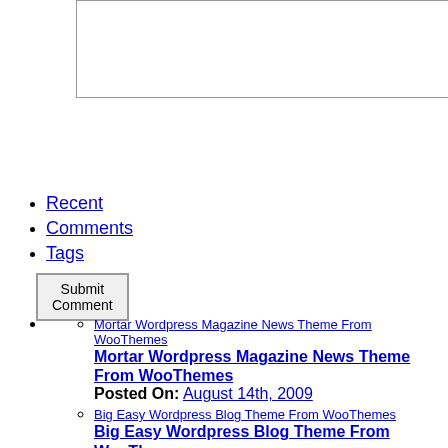[Figure (screenshot): A textarea input box for comment submission]
Submit Comment button
Recent
Comments
Tags
Mortar Wordpress Magazine News Theme From WooThemes — Posted On: August 14th, 2009
Big Easy Wordpress Blog Theme From WooThemes — Posted On: August 14th, 2009
Mainstream Free Wordpress Blog Theme From WooThemes